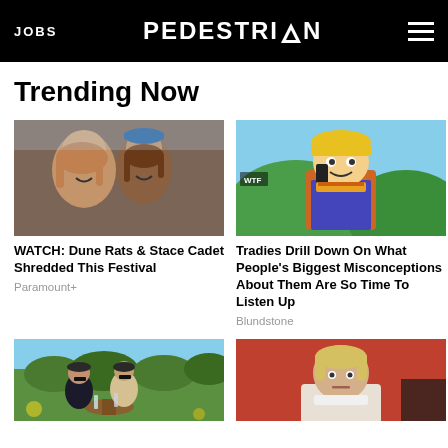JOBS | PEDESTRIAN | (menu)
Trending Now
[Figure (photo): Two young men smiling at a festival event, one wearing a cap]
WATCH: Dune Rats & Stace Cadet Shredded This Festival
Paramount+
[Figure (photo): Bob the Builder animated character on the phone, WTF tag visible]
Tradies Drill Down On What People's Biggest Misconceptions About Them Are So Time To Listen Up
Blundstone
[Figure (photo): Two people drinking wine outdoors in a vineyard setting]
[Figure (photo): Woman with blonde hair looking unamused, sitting against orange background]